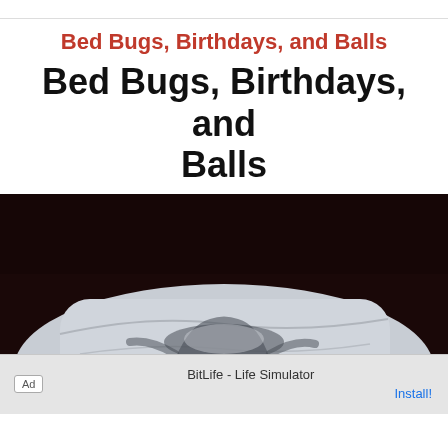Bed Bugs, Birthdays, and Balls
Bed Bugs, Birthdays, and Balls
[Figure (photo): Dark close-up photo of white bed sheets and pillow with a shadowy silhouette of a figure underneath the sheets, dark brown/black background.]
Ad  BitLife - Life Simulator  Install!